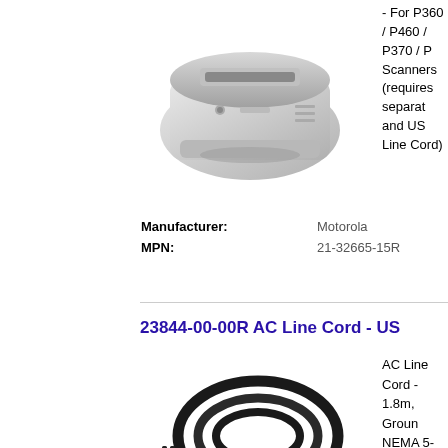[Figure (photo): Photo of a Motorola barcode scanner/cradle device, light gray color, viewed from above at an angle]
- For P360 / P460 / P370 / P... Scanners (requires separate... and US Line Cord)
| Manufacturer: | Motorola |
| MPN: | 21-32665-15R |
23844-00-00R AC Line Cord - US
AC Line Cord - 1.8m, Groun... NEMA 5-15P Plug Associate... Countries Brazil & USA
[Figure (photo): Photo of a black AC power cord coiled in a loop with NEMA 5-15P plug on one end and IEC connector on the other]